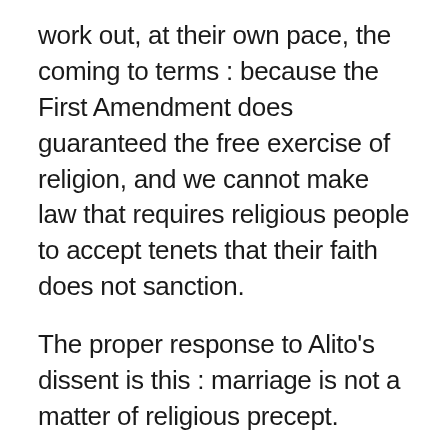work out, at their own pace, the coming to terms : because the First Amendment does guaranteed the free exercise of religion, and we cannot make law that requires religious people to accept tenets that their faith does not sanction.
The proper response to Alito's dissent is this : marriage is not a matter of religious precept.
That almost all religions sanction marriage does not mean that marriage is theirs. Marriage of one arrangement or another existed, and continues to exist, in almost every society, quite apart from religious precept. In America, a Governor or Lieutenant Governor can marry people. So can